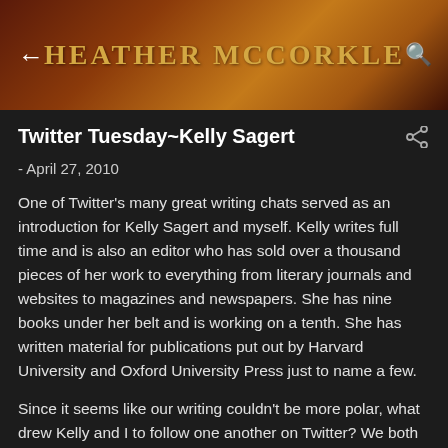Heather McCorkle
Twitter Tuesday~Kelly Sagert
- April 27, 2010
One of Twitter's many great writing chats served as an introduction for Kelly Sagert and myself. Kelly writes full time and is also an editor who has sold over a thousand pieces of her work to everything from literary journals and websites to magazines and newspapers. She has nine books under her belt and is working on a tenth. She has written material for publications put out by Harvard University and Oxford University Press just to name a few.
Since it seems like our writing couldn't be more polar, what drew Kelly and I to follow one another on Twitter? We both share a love of the written word and embrace the writing process. The fact that we don't write anything close to the same style, let alone genre hasn't